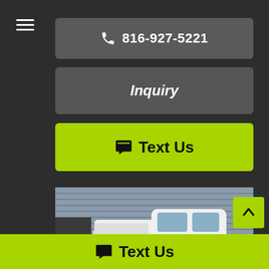[Figure (screenshot): Hamburger menu icon (three horizontal white lines) in top-left corner]
📞 816-927-5221
Inquiry
💬 Text Us
[Figure (photo): White GMC pickup truck parked in front of a corrugated metal garage door]
💬 Text Us